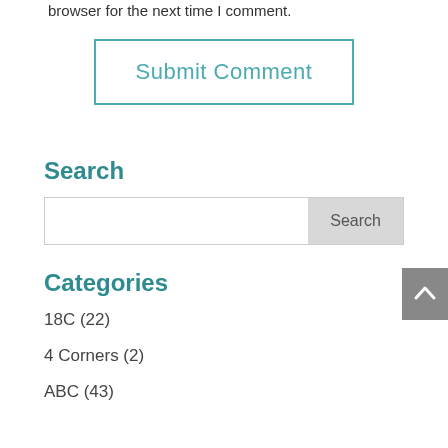Save my name, email, and website in this browser for the next time I comment.
Submit Comment
Search
Search
Categories
18C (22)
4 Corners (2)
ABC (43)